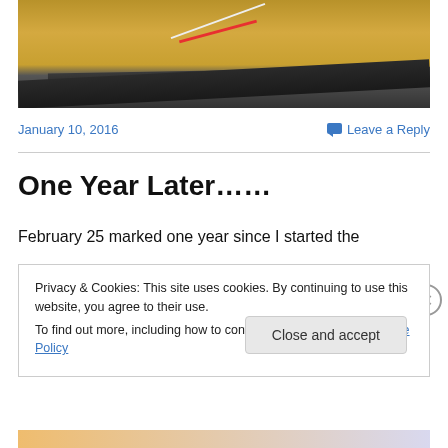[Figure (photo): Photo of a dark metal ruler/straight edge on a wooden workbench surface with wires (red and white) visible]
January 10, 2016
Leave a Reply
One Year Later……
February 25 marked one year since I started the
Privacy & Cookies: This site uses cookies. By continuing to use this website, you agree to their use.
To find out more, including how to control cookies, see here: Cookie Policy
Close and accept